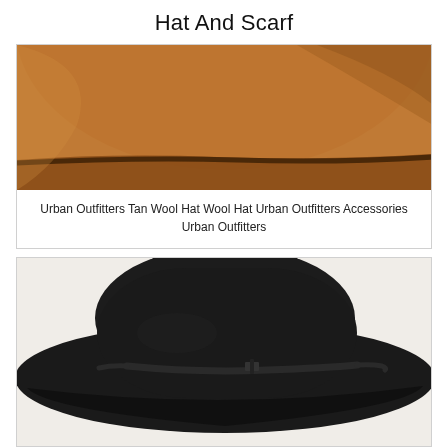Hat And Scarf
[Figure (photo): Close-up photo of a tan/camel colored wool fedora hat with dark brown band, shown from above against a white background.]
Urban Outfitters Tan Wool Hat Wool Hat Urban Outfitters Accessories Urban Outfitters
[Figure (photo): Close-up photo of a black wide-brim wool felt hat with a black leather strap band detail, shown from above against a light background.]